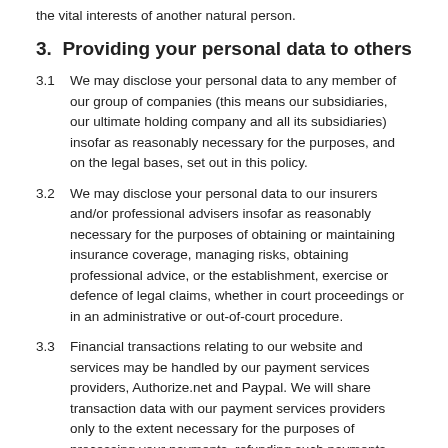the vital interests of another natural person.
3.  Providing your personal data to others
3.1    We may disclose your personal data to any member of our group of companies (this means our subsidiaries, our ultimate holding company and all its subsidiaries) insofar as reasonably necessary for the purposes, and on the legal bases, set out in this policy.
3.2    We may disclose your personal data to our insurers and/or professional advisers insofar as reasonably necessary for the purposes of obtaining or maintaining insurance coverage, managing risks, obtaining professional advice, or the establishment, exercise or defence of legal claims, whether in court proceedings or in an administrative or out-of-court procedure.
3.3    Financial transactions relating to our website and services may be handled by our payment services providers, Authorize.net and Paypal. We will share transaction data with our payment services providers only to the extent necessary for the purposes of processing your payments, refunding such payments and dealing with complaints and queries